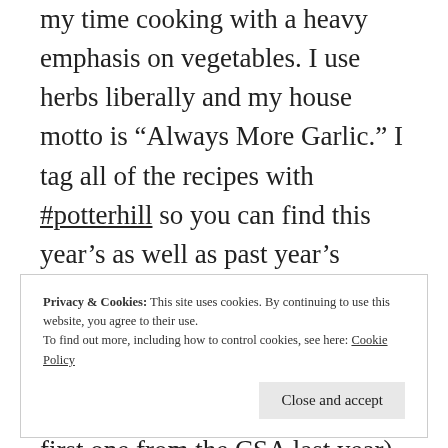my time cooking with a heavy emphasis on vegetables. I use herbs liberally and my house motto is “Always More Garlic.” I tag all of the recipes with #potterhill so you can find this year’s as well as past year’s recipes. The search function in this WordPress theme is a little hidden, but it does exist! Just open up any one post (like the first one from the CSA last year) and scroll to the very bottom to find the search bar.
Privacy & Cookies: This site uses cookies. By continuing to use this website, you agree to their use.
To find out more, including how to control cookies, see here: Cookie Policy